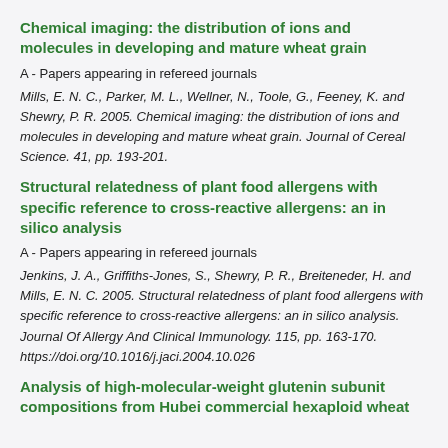Chemical imaging: the distribution of ions and molecules in developing and mature wheat grain
A - Papers appearing in refereed journals
Mills, E. N. C., Parker, M. L., Wellner, N., Toole, G., Feeney, K. and Shewry, P. R. 2005. Chemical imaging: the distribution of ions and molecules in developing and mature wheat grain. Journal of Cereal Science. 41, pp. 193-201.
Structural relatedness of plant food allergens with specific reference to cross-reactive allergens: an in silico analysis
A - Papers appearing in refereed journals
Jenkins, J. A., Griffiths-Jones, S., Shewry, P. R., Breiteneder, H. and Mills, E. N. C. 2005. Structural relatedness of plant food allergens with specific reference to cross-reactive allergens: an in silico analysis. Journal Of Allergy And Clinical Immunology. 115, pp. 163-170. https://doi.org/10.1016/j.jaci.2004.10.026
Analysis of high-molecular-weight glutenin subunit compositions from Hubei commercial hexaploid wheat